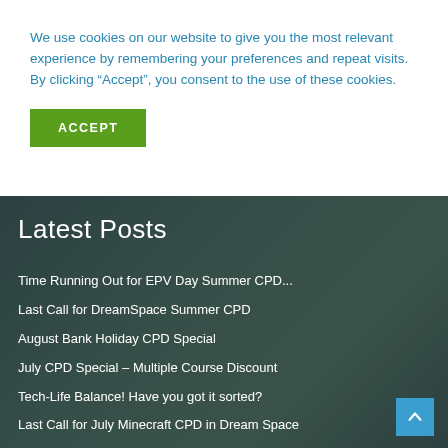We use cookies on our website to give you the most relevant experience by remembering your preferences and repeat visits. By clicking “Accept”, you consent to the use of these cookies.
ACCEPT
Latest Posts
Time Running Out for EPV Day Summer CPD...
Last Call for DreamSpace Summer CPD
August Bank Holiday CPD Special
July CPD Special – Multiple Course Discount
Tech-Life Balance! Have you got it sorted?
Last Call for July Minecraft CPD in Dream Space